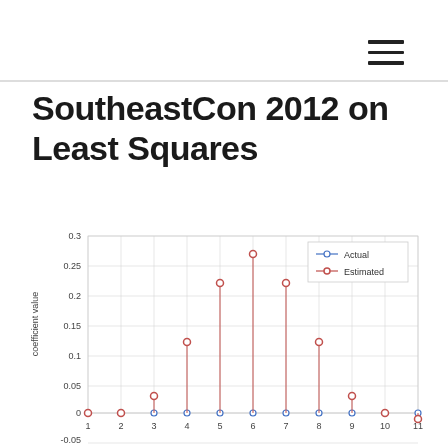SoutheastCon 2012 on Least Squares
[Figure (line-chart): coefficient value vs index]